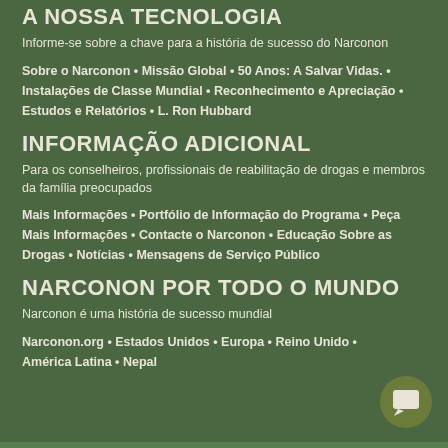A NOSSA TECNOLOGIA
Informe-se sobre a chave para a história de sucesso do Narconon
Sobre o Narconon • Missão Global • 50 Anos: A Salvar Vidas. • Instalações de Classe Mundial • Reconhecimento e Apreciação • Estudos e Relatórios • L. Ron Hubbard
INFORMAÇÃO ADICIONAL
Para os conselheiros, profissionais de reabilitação de drogas e membros da família preocupados
Mais Informações • Portfólio de Informação do Programa • Peça Mais Informações • Contacte o Narconon • Educação Sobre as Drogas • Notícias • Mensagens de Serviço Público
NARCONON POR TODO O MUNDO
Narconon é uma história de sucesso mundial
Narconon.org • Estados Unidos • Europa • Reino Unido • América Latina • Nepal